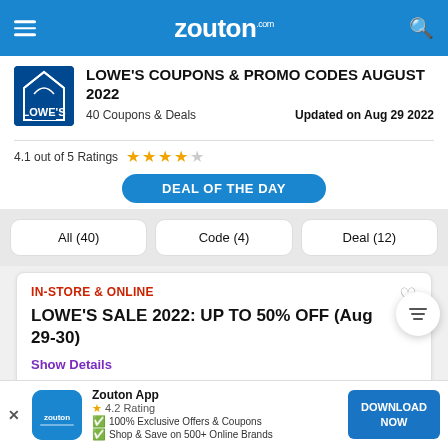zouton.com
LOWE'S COUPONS & PROMO CODES AUGUST 2022
40 Coupons & Deals   Updated on Aug 29 2022
4.1 out of 5 Ratings
DEAL OF THE DAY
All (40)   Code (4)   Deal (12)
IN-STORE & ONLINE
LOWE'S SALE 2022: UP TO 50% OFF (Aug 29-30)
Show Details
SHOP NOW →
Zouton App  4.2 Rating  100% Exclusive Offers & Coupons  Shop & Save on 500+ Online Brands
DOWNLOAD NOW